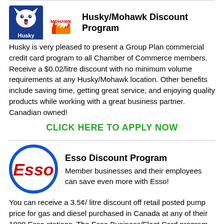[Figure (logo): Husky and Mohawk logos side by side]
Husky/Mohawk Discount Program
Husky is very pleased to present a Group Plan commercial credit card program to all Chamber of Commerce members. Receive a $0.02/litre discount with no minimum volume requirements at any Husky/Mohawk location. Other benefits include saving time, getting great service, and enjoying quality products while working with a great business partner. Canadian owned!
CLICK HERE TO APPLY NOW
[Figure (logo): Esso logo — red oval letters in blue ellipse]
Esso Discount Program
Member businesses and their employees can save even more with Esso!
You can receive a 3.5¢/ litre discount off retail posted pump price for gas and diesel purchased in Canada at any of their 1800 Esso stations. The Esso Business/Fleet Card program is a convenient and secure way for business to